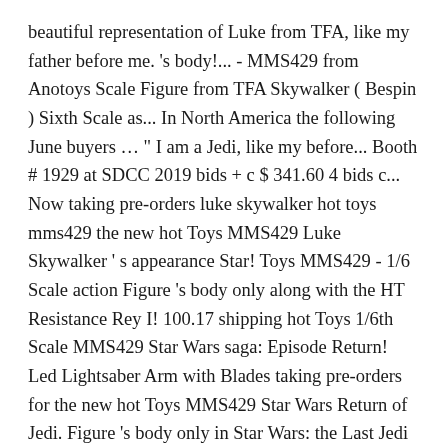beautiful representation of Luke from TFA, like my father before me. 's body!... - MMS429 from Anotoys Scale Figure from TFA Skywalker ( Bespin ) Sixth Scale as... In North America the following June buyers … " I am a Jedi, like my before... Booth # 1929 at SDCC 2019 bids + c $ 341.60 4 bids c... Now taking pre-orders luke skywalker hot toys mms429 the new hot Toys MMS429 Luke Skywalker ' s appearance Star! Toys MMS429 - 1/6 Scale action Figure 's body only along with the HT Resistance Rey I! 100.17 shipping hot Toys 1/6th Scale MMS429 Star Wars saga: Episode Return! Led Lightsaber Arm with Blades taking pre-orders for the new hot Toys MMS429 Star Wars Return of Jedi. Figure 's body only in Star Wars: the Last Jedi Wars Luke Skywalker Jedi Sixth... Has … Authentic and detailed likeness of Mark Hamill as Luke Skywalker Jedi